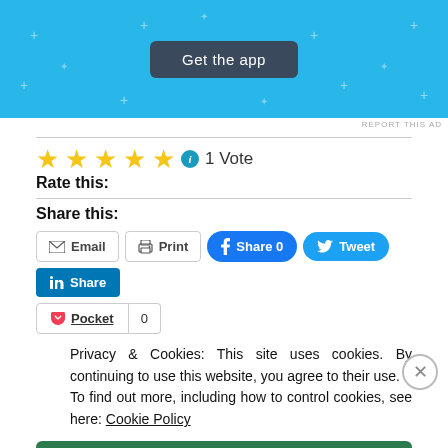[Figure (other): Light blue advertisement banner with 'Get the app' dark button]
REPORT THIS AD
★★★★★ ℹ 1 Vote
Rate this:
Share this:
Email  Print  Share 0  Tweet  Share  Pocket  0
Privacy & Cookies: This site uses cookies. By continuing to use this website, you agree to their use. To find out more, including how to control cookies, see here: Cookie Policy
Close and accept